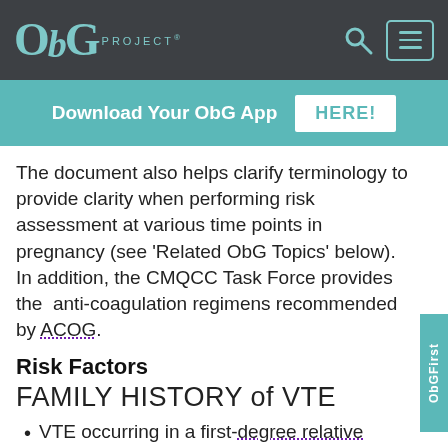ObG PROJECT®
Download Your ObG App HERE!
The document also helps clarify terminology to provide clarity when performing risk assessment at various time points in pregnancy (see 'Related ObG Topics' below). In addition, the CMQCC Task Force provides the  anti-coagulation regimens recommended by ACOG.
Risk Factors
FAMILY HISTORY of VTE
VTE occurring in a first-degree relative prior to age 50